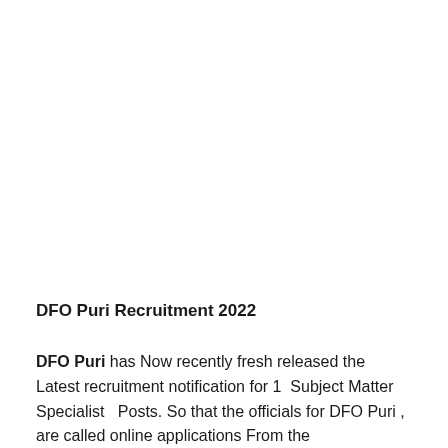DFO Puri Recruitment 2022
DFO Puri has Now recently fresh released the Latest recruitment notification for 1  Subject Matter Specialist   Posts. So that the officials for DFO Puri , are called online applications From the